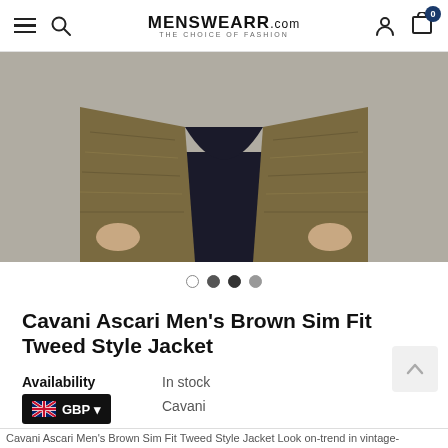MENSWEARR.com — THE CHOICE OF FASHION
[Figure (photo): Close-up photo of a man wearing a brown tweed style slim fit jacket with black trousers, showing torso and hands]
[Figure (other): Carousel navigation dots — 4 dots, first empty, second filled dark, third filled dark, fourth filled medium]
Cavani Ascari Men's Brown Sim Fit Tweed Style Jacket
Availability: In stock
Brand: Cavani
Cavani Ascari Men's Brown Sim Fit Tweed Style Jacket Look on-trend in vintage-